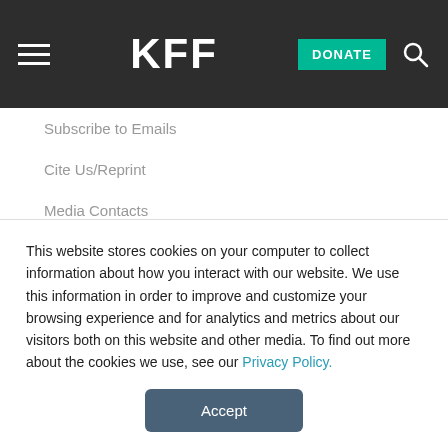KFF   DONATE
Subscribe to Emails
Cite Us/Reprint
Media Contacts
ABOUT US
President's Message
Join Our Team
This website stores cookies on your computer to collect information about how you interact with our website. We use this information in order to improve and customize your browsing experience and for analytics and metrics about our visitors both on this website and other media. To find out more about the cookies we use, see our Privacy Policy.
Accept